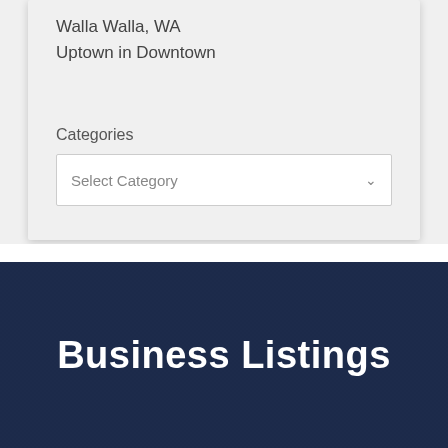Walla Walla, WA
Uptown in Downtown
Categories
Select Category
Business Listings